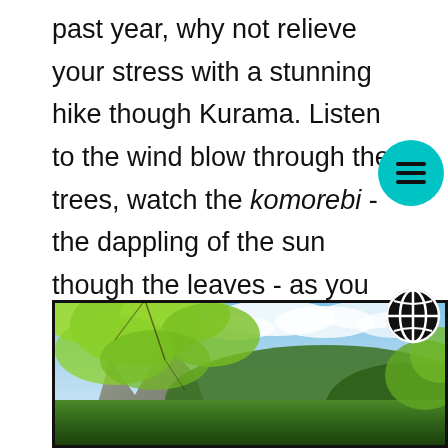past year, why not relieve your stress with a stunning hike though Kurama. Listen to the wind blow through the trees, watch the komorebi - the dappling of the sun though the leaves - as you walk through the forest.
[Figure (photo): Photograph of Kurama forest showing lush bright green maple tree foliage in the foreground, rocky cliffs on the left, dense forested hills in the background, and a partly cloudy blue sky.]